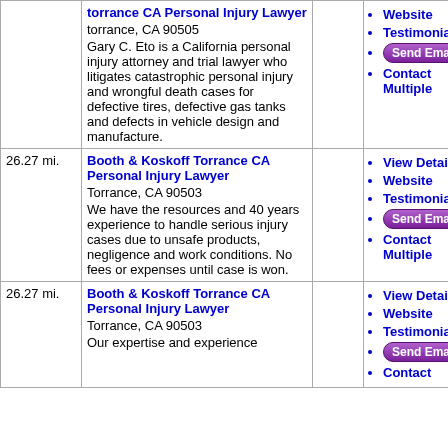| Distance | Lawyer Info |  | Links |
| --- | --- | --- | --- |
|  | torrance CA Personal Injury Lawyer
torrance, CA 90505
Gary C. Eto is a California personal injury attorney and trial lawyer who litigates catastrophic personal injury and wrongful death cases for defective tires, defective gas tanks and defects in vehicle design and manufacture. |  | Website
Testimonials
Send Email
Contact Multiple |
| 26.27 mi. | Booth & Koskoff Torrance CA Personal Injury Lawyer
Torrance, CA 90503
We have the resources and 40 years experience to handle serious injury cases due to unsafe products, negligence and work conditions. No fees or expenses until case is won. |  | View Details
Website
Testimonials
Send Email
Contact Multiple |
| 26.27 mi. | Booth & Koskoff Torrance CA Personal Injury Lawyer
Torrance, CA 90503
Our expertise and experience |  | View Details
Website
Testimonials
Send Email
Contact |